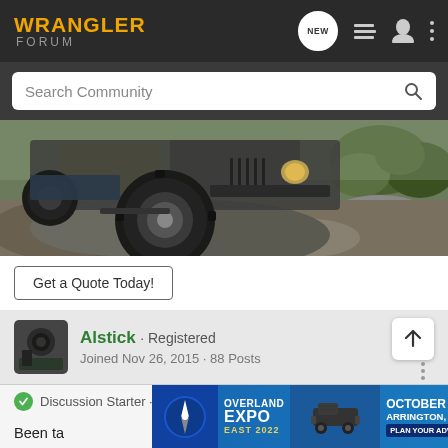WRANGLER FORUM
Search Community
[Figure (photo): Jeep Wrangler on rocks off-road trail with large knobby tires, outdoor rocky terrain with trees in background]
Get a Quote Today!
Alstick · Registered
Joined Nov 26, 2015 · 88 Posts
Discussion Starter · #49 · Aug 31, 2016
Been ta... t I'd
post pic...
[Figure (photo): Overland Expo East 2022 banner ad — October 7-9, Arrington, VA, Plan Your Adventure]